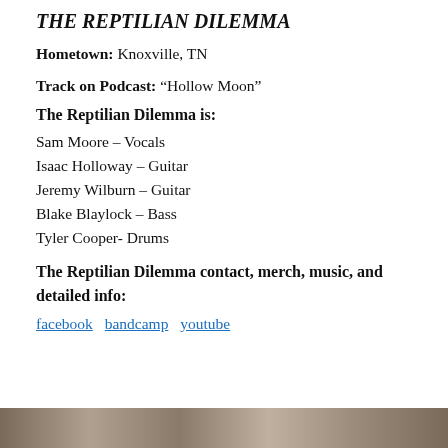THE REPTILIAN DILEMMA
Hometown: Knoxville, TN
Track on Podcast: “Hollow Moon”
The Reptilian Dilemma is:
Sam Moore – Vocals
Isaac Holloway – Guitar
Jeremy Wilburn – Guitar
Blake Blaylock – Bass
Tyler Cooper- Drums
The Reptilian Dilemma contact, merch, music, and detailed info:
facebook  bandcamp  youtube
[Figure (photo): Partial photo strip at bottom of page showing band members or live performance images]